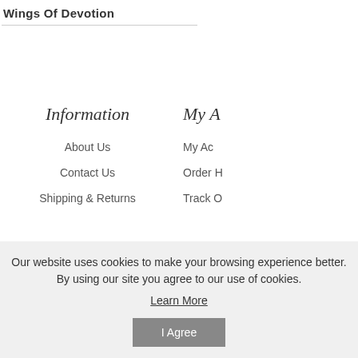Wings Of Devotion
Information
My A
About Us
My Ac
Contact Us
Order H
Shipping & Returns
Track O
Our website uses cookies to make your browsing experience better. By using our site you agree to our use of cookies. Learn More
I Agree